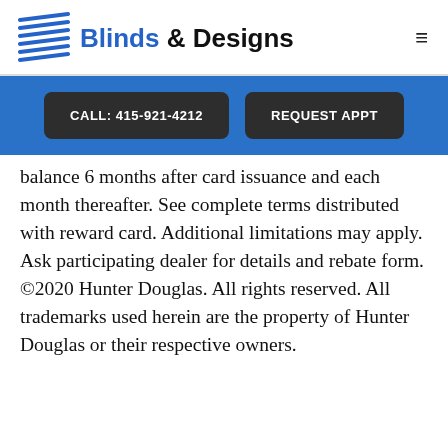[Figure (logo): Blinds & Designs logo with horizontal blind slats icon in blue and company name]
CALL: 415-921-4212
REQUEST APPT
balance 6 months after card issuance and each month thereafter. See complete terms distributed with reward card. Additional limitations may apply. Ask participating dealer for details and rebate form. ©2020 Hunter Douglas. All rights reserved. All trademarks used herein are the property of Hunter Douglas or their respective owners.